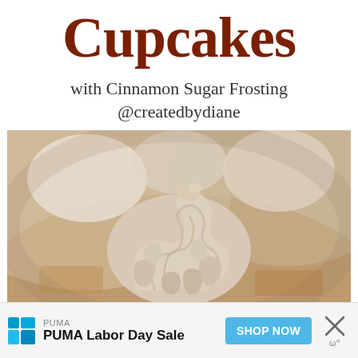Cupcakes
with Cinnamon Sugar Frosting
@createdbydiane
[Figure (photo): Close-up photo of cupcakes with swirled cinnamon sugar frosting piped on top, shown in soft focus with warm beige and tan tones.]
PUMA
PUMA Labor Day Sale
SHOP NOW